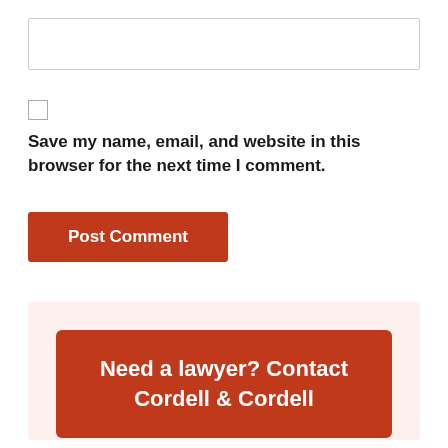[Figure (other): Text input field (empty, with border)]
[Figure (other): Checkbox (unchecked)]
Save my name, email, and website in this browser for the next time I comment.
[Figure (other): Post Comment button (dark red/orange background, white bold text)]
[Figure (other): Advertisement box with light pink background containing a dark red banner reading 'Need a lawyer? Contact Cordell & Cordell']